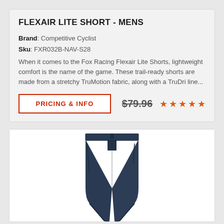FLEXAIR LITE SHORT - MENS
Brand: Competitive Cyclist
Sku: FXR032B-NAV-S28
When it comes to the Fox Racing Flexair Lite Shorts, lightweight comfort is the name of the game. These trail-ready shorts are made from a stretchy TruMotion fabric, along with a TruDri line...
PRICING & INFO   $79.96  ★★★★★
[Figure (photo): Navy blue cycling shorts (Fox Racing Flexair Lite) displayed against white background, front view showing waistband and leg openings]